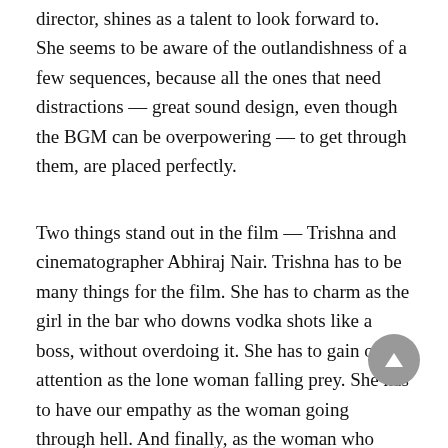director, shines as a talent to look forward to. She seems to be aware of the outlandishness of a few sequences, because all the ones that need distractions — great sound design, even though the BGM can be overpowering — to get through them, are placed perfectly.
Two things stand out in the film — Trishna and cinematographer Abhiraj Nair. Trishna has to be many things for the film. She has to charm as the girl in the bar who downs vodka shots like a boss, without overdoing it. She has to gain our attention as the lone woman falling prey. She has to have our empathy as the woman going through hell. And finally, as the woman who conquers it all, she has to gain our admiration. She does all this and more.